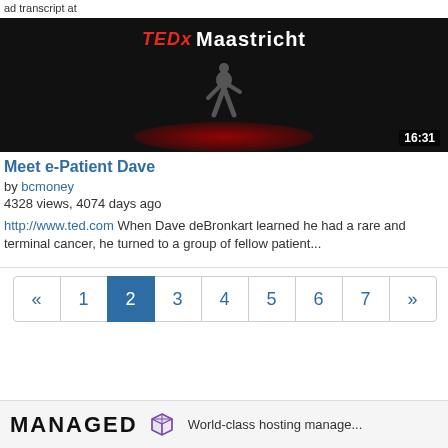ad transcript at
[Figure (screenshot): TEDx Maastricht video thumbnail showing a speaker on a dark stage with a red spotlight. Duration badge shows 16:31.]
Meet e-Patient Dave
by bcmoney
4328 views, 4074 days ago
http://www.ted.com When Dave deBronkart learned he had a rare and terminal cancer, he turned to a group of fellow patient...
« 1 2 3 4 5 6 7 »
[Figure (logo): MANAGED logo with cube icon and tagline: World-class hosting manage...]